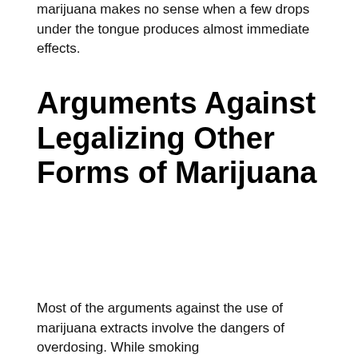marijuana makes no sense when a few drops under the tongue produces almost immediate effects.
Arguments Against Legalizing Other Forms of Marijuana
Most of the arguments against the use of marijuana extracts involve the dangers of overdosing. While smoking